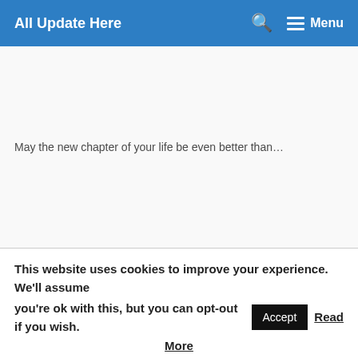All Update Here
May the new chapter of your life be even better than…
This website uses cookies to improve your experience. We'll assume you're ok with this, but you can opt-out if you wish. Accept Read More